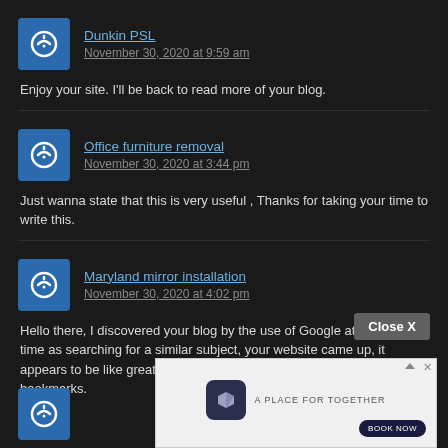Dunkin PSL
November 30, 2020 at 9:59 am
Enjoy your site. I'll be back to read more of your blog.
Office furniture removal
November 30, 2020 at 3:44 pm
Just wanna state that this is very useful , Thanks for taking your time to write this.
Maryland mirror installation
November 30, 2020 at 4:02 pm
Hello there, I discovered your blog by the use of Google at the same time as searching for a similar subject, your website came up, it appears to be like great. I have bookmarked it in my google bookmarks.